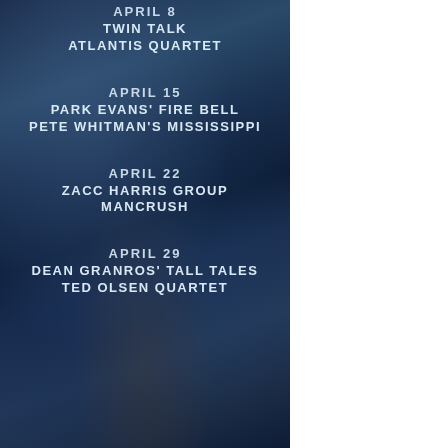APRIL 8
TWIN TALK
ATLANTIS QUARTET
APRIL 15
PARK EVANS' FIRE BELL
PETE WHITMAN'S MISSISSIPPI
APRIL 22
ZACC HARRIS GROUP
MANCRUSH
APRIL 29
DEAN GRANROS' TALL TALES
TED OLSEN QUARTET